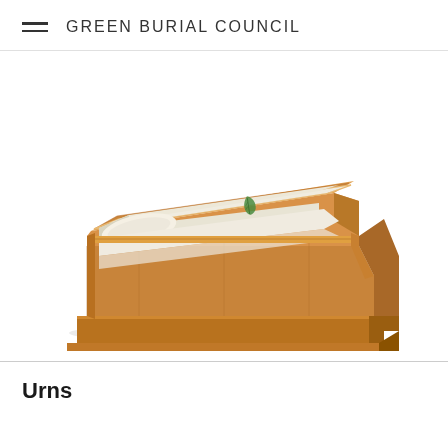GREEN BURIAL COUNCIL
[Figure (photo): An open wooden casket shown at a three-quarter angle. The casket is made of light honey-colored bamboo wood with a warm tan finish. The upper half of the lid is open, revealing a cream/off-white padded interior lining with a small green leaf logo emblem. A cream-colored pillow is visible inside the open section. The lower half of the lid is closed. The casket sits on a stepped wooden base.]
Urns